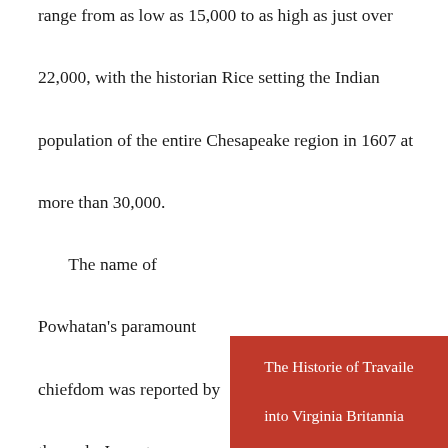range from as low as 15,000 to as high as just over 22,000, with the historian Rice setting the Indian population of the entire Chesapeake region in 1607 at more than 30,000.

        The name of Powhatan's paramount chiefdom was reported by the early Jamestown settler William Strachey, who wrote in his Historie of Travaile into Virginia Britannia
The Historie of Travaile into Virginia Britannia